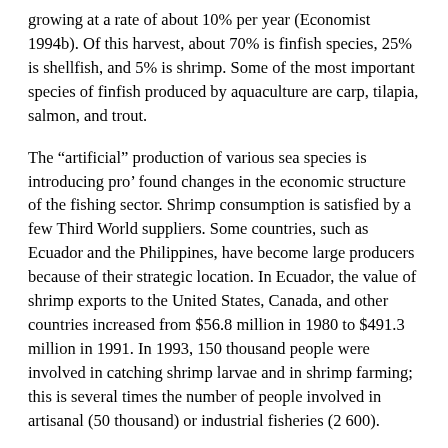growing at a rate of about 10% per year (Economist 1994b). Of this harvest, about 70% is finfish species, 25% is shellfish, and 5% is shrimp. Some of the most important species of finfish produced by aquaculture are carp, tilapia, salmon, and trout.
The “artificial” production of various sea species is introducing pro’ found changes in the economic structure of the fishing sector. Shrimp consumption is satisfied by a few Third World suppliers. Some countries, such as Ecuador and the Philippines, have become large producers because of their strategic location. In Ecuador, the value of shrimp exports to the United States, Canada, and other countries increased from $56.8 million in 1980 to $491.3 million in 1991. In 1993, 150 thousand people were involved in catching shrimp larvae and in shrimp farming; this is several times the number of people involved in artisanal (50 thousand) or industrial fisheries (2 600).
Aquaculture may have a strong impact on the aquatic environment; for example, water is continuously being consumed and food that...